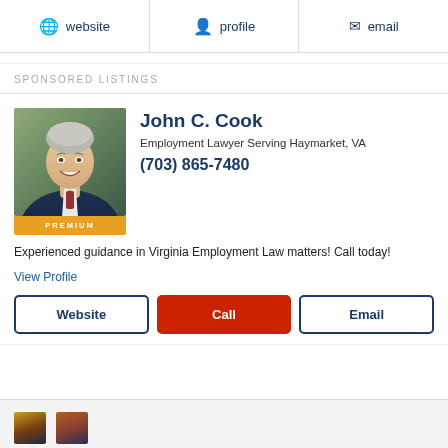website | profile | email
SPONSORED LISTINGS
[Figure (photo): Professional headshot of John C. Cook, an older man in a suit smiling, with PREMIUM badge]
John C. Cook
Employment Lawyer Serving Haymarket, VA
(703) 865-7480
Experienced guidance in Virginia Employment Law matters! Call today!
View Profile
Website | Call | Email